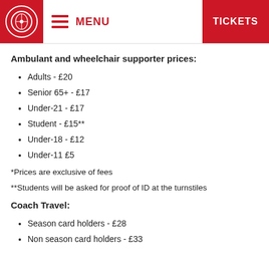MENU | TICKETS
Ambulant and wheelchair supporter prices:
Adults - £20
Senior 65+ - £17
Under-21 - £17
Student - £15**
Under-18 - £12
Under-11 £5
*Prices are exclusive of fees
**Students will be asked for proof of ID at the turnstiles
Coach Travel:
Season card holders - £28
Non season card holders - £33